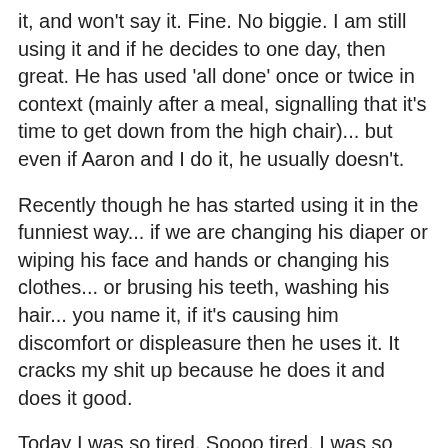it, and won't say it. Fine. No biggie. I am still using it and if he decides to one day, then great. He has used 'all done' once or twice in context (mainly after a meal, signalling that it's time to get down from the high chair)... but even if Aaron and I do it, he usually doesn't.
Recently though he has started using it in the funniest way... if we are changing his diaper or wiping his face and hands or changing his clothes... or brusing his teeth, washing his hair... you name it, if it's causing him discomfort or displeasure then he uses it. It cracks my shit up because he does it and does it good.
Today I was so tired. Soooo tired. I was so tired that I felt nauseated and at one point had to run to the bathroom to vomit. Nolan came after me and stood in the bathroom as I puked into a trash bag and was visibly distressed. He started to whine/cry, and I looked up from the bag (mid heave) and smiled and said "it's ok" in my gravelly pukey voice. He stopped whining for a second and then bam. He started frantically doing the sign for 'all done'. I had to laugh. Then I puked some more, but then I laughed about it all day... this kid never ceases to amaze me... his little quirks and funnies